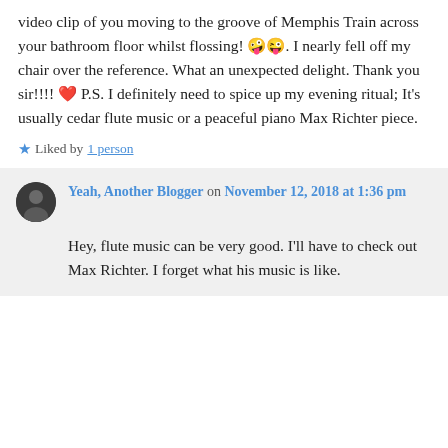video clip of you moving to the groove of Memphis Train across your bathroom floor whilst flossing! 🤪😜. I nearly fell off my chair over the reference. What an unexpected delight. Thank you sir!!!! ❤ P.S. I definitely need to spice up my evening ritual; It's usually cedar flute music or a peaceful piano Max Richter piece.
★ Liked by 1 person
Yeah, Another Blogger on November 12, 2018 at 1:36 pm
Hey, flute music can be very good. I'll have to check out Max Richter. I forget what his music is like.